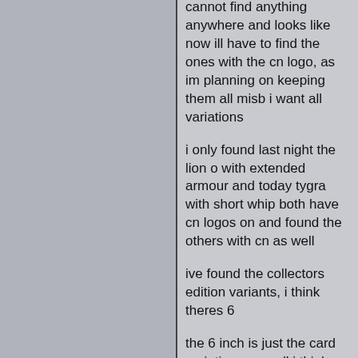cannot find anything anywhere and looks like now ill have to find the ones with the cn logo, as im planning on keeping them all misb i want all variations
i only found last night the lion o with extended armour and today tygra with short whip both have cn logos on and found the others with cn as well
ive found the collectors edition variants, i think theres 6
the 6 inch is just the card variations as well i think
the deluxe same again just cards unless there are variants, ive heard of grune logo being different?